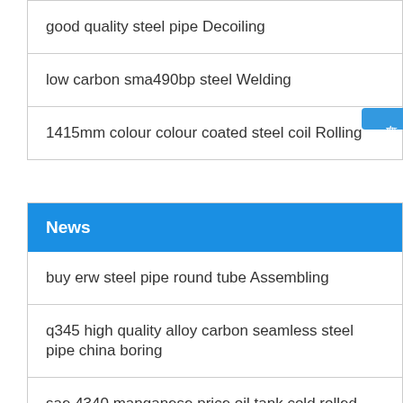good quality steel pipe Decoiling
low carbon sma490bp steel Welding
1415mm colour colour coated steel coil Rolling
News
buy erw steel pipe round tube Assembling
q345 high quality alloy carbon seamless steel pipe china boring
sae 4340 manganese price oil tank cold rolled high strengt Painting